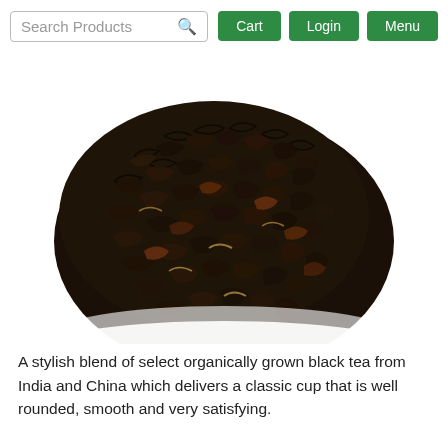Search Products | Cart | Login | Menu
[Figure (photo): A pile of loose black tea leaves against a white background, showing dark twisted tea leaves with some brown and golden tips.]
A stylish blend of select organically grown black tea from India and China which delivers a classic cup that is well rounded, smooth and very satisfying.